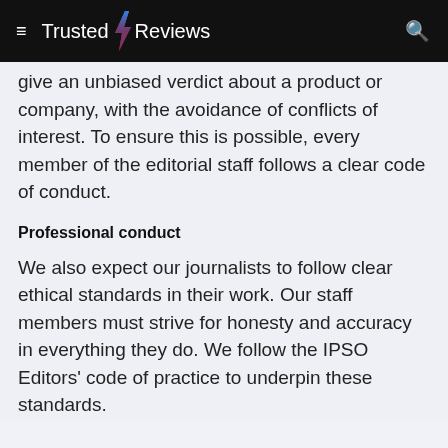Trusted Reviews
give an unbiased verdict about a product or company, with the avoidance of conflicts of interest. To ensure this is possible, every member of the editorial staff follows a clear code of conduct.
Professional conduct
We also expect our journalists to follow clear ethical standards in their work. Our staff members must strive for honesty and accuracy in everything they do. We follow the IPSO Editors' code of practice to underpin these standards.